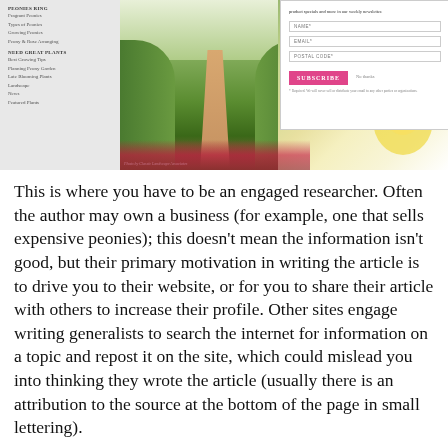[Figure (screenshot): Website screenshot showing a garden blog with a sidebar navigation, a garden pathway photo, a newsletter subscribe modal with NAME, EMAIL, POSTAL CODE fields and a pink SUBSCRIBE button, and a flower image on the right.]
This is where you have to be an engaged researcher. Often the author may own a business (for example, one that sells expensive peonies); this doesn't mean the information isn't good, but their primary motivation in writing the article is to drive you to their website, or for you to share their article with others to increase their profile. Other sites engage writing generalists to search the internet for information on a topic and repost it on the site, which could mislead you into thinking they wrote the article (usually there is an attribution to the source at the bottom of the page in small lettering).
The content provided on these sites are not a bad place to begin your searches, but the quality varies significantly, as